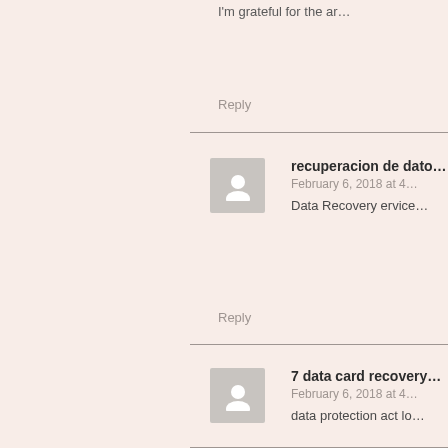I'm grateful for the ar…
Reply
recuperacion de dato…
February 6, 2018 at 4…
Data Recovery ervice…
Reply
7 data card recovery…
February 6, 2018 at 4…
data protection act lo…
Reply